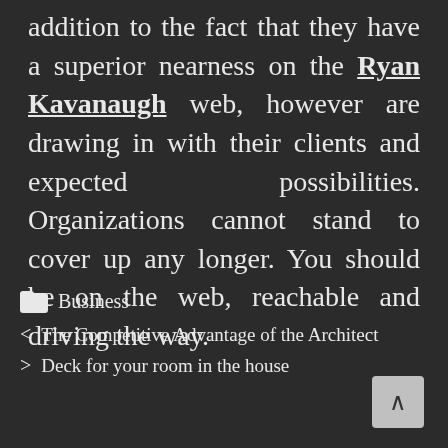addition to the fact that they have a superior nearness on the Ryan Kavanaugh web, however are drawing in with their clients and expected possibilities. Organizations cannot stand to cover up any longer. You should be on the web, reachable and driving the way.
Business
< The Competitive Advantage of the Architect
> Deck for your room in the house